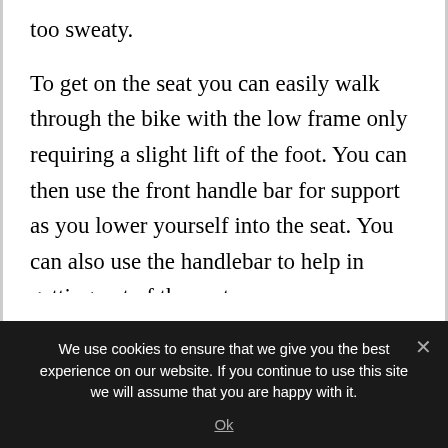too sweaty.
To get on the seat you can easily walk through the bike with the low frame only requiring a slight lift of the foot. You can then use the front handle bar for support as you lower yourself into the seat. You can also use the handlebar to help in getting out of the seat.
Most find the seat and backrest gives them the
We use cookies to ensure that we give you the best experience on our website. If you continue to use this site we will assume that you are happy with it.
Ok